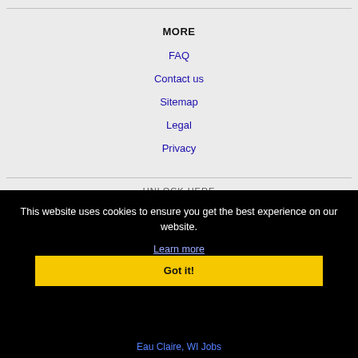MORE
FAQ
Contact us
Sitemap
Legal
Privacy
This website uses cookies to ensure you get the best experience on our website.
Learn more
Got it!
Eau Claire, WI Jobs